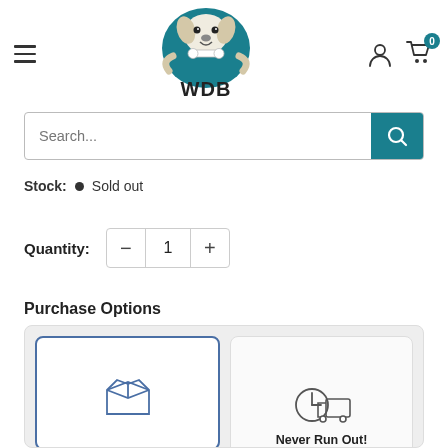[Figure (logo): WDB (Wholesale Dog Bones) logo: cartoon dog holding a bone inside a teal circle, with WDB text below]
Search...
Stock: • Sold out
Quantity: − 1 +
Purchase Options
[Figure (illustration): Two purchase option cards: left card with blue border showing an open box icon (one-time purchase), right card showing a clock/delivery truck icon labeled 'Never Run Out!']